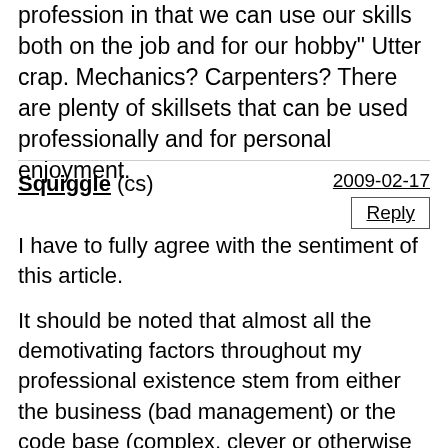profession in that we can use our skills both on the job and for our hobby" Utter crap. Mechanics? Carpenters? There are plenty of skillsets that can be used professionally and for personal enjoyment.
Squiggle (cs) 2009-02-17
I have to fully agree with the sentiment of this article.

It should be noted that almost all the demotivating factors throughout my professional existence stem from either the business (bad management) or the code base (complex, clever or otherwise unmaintainable code).